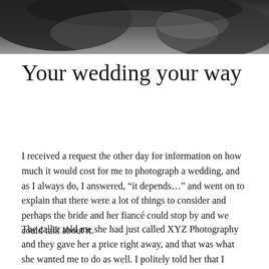[Figure (photo): Black and white photo of hands, likely a wedding scene, cropped at the top of the page]
Your wedding your way
I received a request the other day for information on how much it would cost for me to photograph a wedding, and as I always do, I answered, “it depends…” and went on to explain that there were a lot of things to consider and perhaps the bride and her fiancé could stop by and we could talk about it.
The caller told me she had just called XYZ Photography and they gave her a price right away, and that was what she wanted me to do as well. I politely told her that I would need some more information, but she declined and then encouraged her to do…